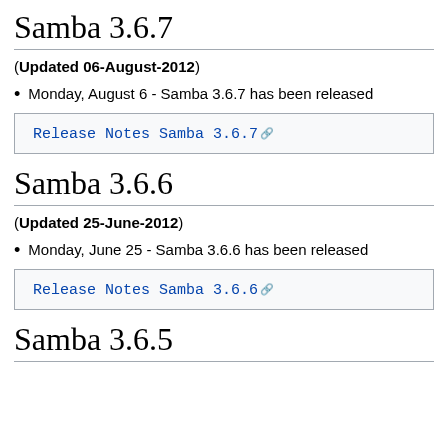Samba 3.6.7
(Updated 06-August-2012)
Monday, August 6 - Samba 3.6.7 has been released
Release Notes Samba 3.6.7
Samba 3.6.6
(Updated 25-June-2012)
Monday, June 25 - Samba 3.6.6 has been released
Release Notes Samba 3.6.6
Samba 3.6.5